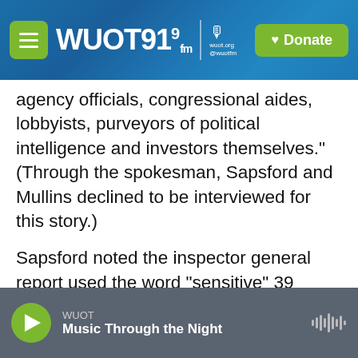WUOT 91.9 FM | Donate
agency officials, congressional aides, lobbyists, purveyors of political intelligence and investors themselves." (Through the spokesman, Sapsford and Mullins declined to be interviewed for this story.)
Sapsford noted the inspector general report used the word "sensitive" 39 times.
"We determined this flow of information to be a useful background to the developments of this story. We stand by that judgment."
Shireman points to that response and nearly
WUOT — Music Through the Night